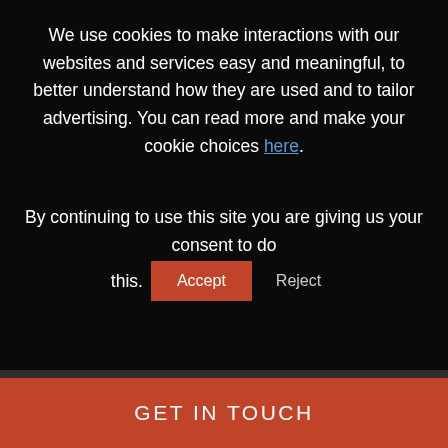We use cookies to make interactions with our websites and services easy and meaningful, to better understand how they are used and to tailor advertising. You can read more and make your cookie choices here.
By continuing to use this site you are giving us your consent to do this. Accept Reject
10 West Broadway #500
Salt Lake City, UT 84101
Phone: 833.SIM.PLUS
[Figure (infographic): Social media icons: LinkedIn, Twitter, Facebook, YouTube]
[Figure (infographic): Scroll-to-top circular arrow button]
GET IN TOUCH